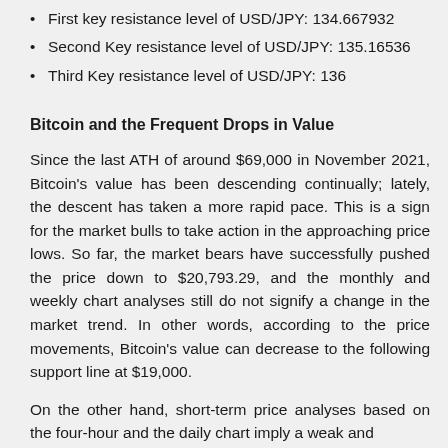First key resistance level of USD/JPY: 134.667932
Second Key resistance level of USD/JPY: 135.16536
Third Key resistance level of USD/JPY: 136
Bitcoin and the Frequent Drops in Value
Since the last ATH of around $69,000 in November 2021, Bitcoin’s value has been descending continually; lately, the descent has taken a more rapid pace. This is a sign for the market bulls to take action in the approaching price lows. So far, the market bears have successfully pushed the price down to $20,793.29, and the monthly and weekly chart analyses still do not signify a change in the market trend. In other words, according to the price movements, Bitcoin’s value can decrease to the following support line at $19,000.
On the other hand, short-term price analyses based on the four-hour and the daily chart imply a weak and